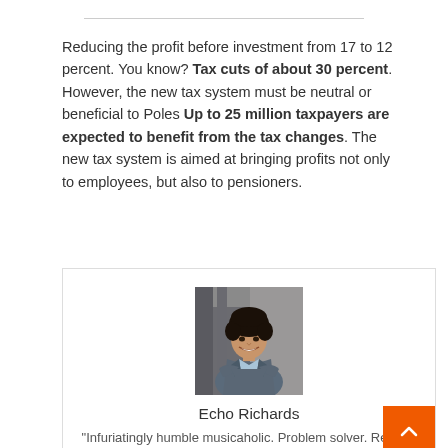Reducing the profit before investment from 17 to 12 percent. You know? Tax cuts of about 30 percent. However, the new tax system must be neutral or beneficial to Poles Up to 25 million taxpayers are expected to benefit from the tax changes. The new tax system is aimed at bringing profits not only to employees, but also to pensioners.
[Figure (photo): Professional headshot of a woman in a suit with arms crossed, smiling]
Echo Richards
"Infuriatingly humble musicaholic. Problem solver. Reader.